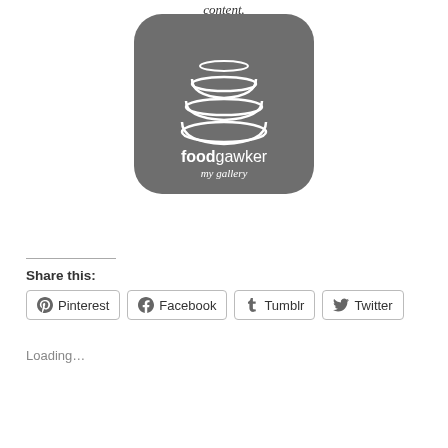content.
[Figure (logo): foodgawker my gallery logo — dark rounded square with stacked bowls icon and text 'foodgawker my gallery']
Share this:
Pinterest  Facebook  Tumblr  Twitter
Loading...